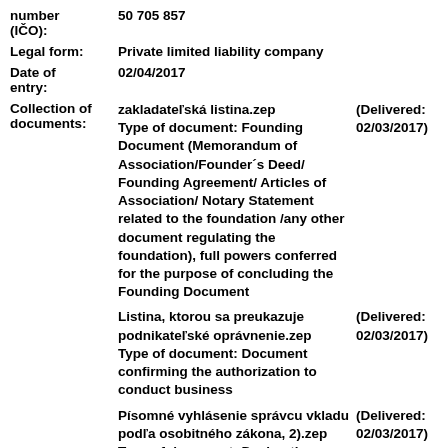number (IČO): 50 705 857
Legal form: Private limited liability company
Date of entry: 02/04/2017
Collection of documents: zakladateľská listina.zep Type of document: Founding Document (Memorandum of Association/Founder´s Deed/Founding Agreement/ Articles of Association/ Notary Statement related to the foundation /any other document regulating the foundation), full powers conferred for the purpose of concluding the Founding Document (Delivered: 02/03/2017)
Listina, ktorou sa preukazuje podnikateľské oprávnenie.zep Type of document: Document confirming the authorization to conduct business (Delivered: 02/03/2017)
Písomné vyhlásenie správcu vkladu podľa osobitného zákona, 2).zep Type of document: Declaration made by trustee of an account (Delivered: 02/03/2017)